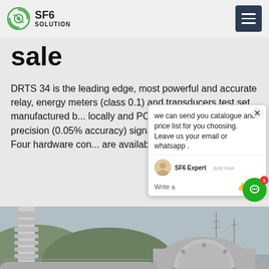SF6 SOLUTION
sale
DRTS 34 is the leading edge, most powerful and accurate relay, energy meters (class 0.1) and transducers test set manufactured b... locally and PC-controlled test set ge... precision (0.05% accuracy) signals ... DSP technology. Four hardware con... are available:
[Figure (photo): Industrial electrical substation with large gray pipe/bushing equipment and high voltage infrastructure in background.]